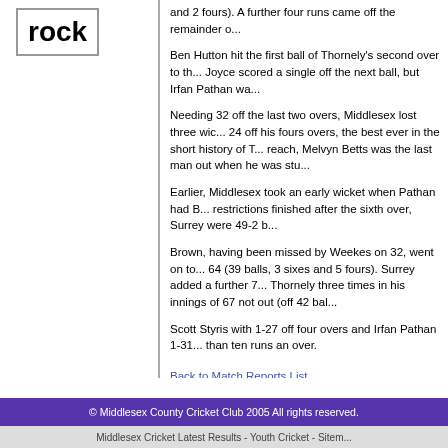[Figure (logo): Box with bold text 'rock']
and 2 fours). A further four runs came off the remainder o...
Ben Hutton hit the first ball of Thornely's second over to th... Joyce scored a single off the next ball, but Irfan Pathan wa...
Needing 32 off the last two overs, Middlesex lost three wic... 24 off his fours overs, the best ever in the short history of T... reach, Melvyn Betts was the last man out when he was stu...
Earlier, Middlesex took an early wicket when Pathan had B... restrictions finished after the sixth over, Surrey were 49-2 b...
Brown, having been missed by Weekes on 32, went on to... 64 (39 balls, 3 sixes and 5 fours). Surrey added a further 7... Thornely three times in his innings of 67 not out (off 42 bal...
Scott Styris with 1-27 off four overs and Irfan Pathan 1-31... than ten runs an over.
Back to Match Reports List
© Middlesex County Cricket Club 2005 All rights reserved.
Middlesex Cricket Latest Results - Youth Cricket - Sitem...